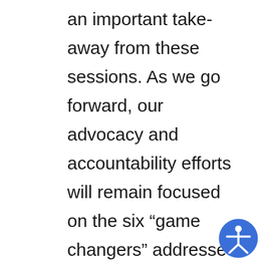an important take-away from these sessions. As we go forward, our advocacy and accountability efforts will remain focused on the six “game changers” addressed earlier. What you will see change are our areas of emphasis and the tactical approach we will utilize to address the problem. It is worth noting again that at the local level the NAACP is primarily an advocacy organization. Our mission is to ensure the political, educational, social, and economic equality of rights of all persons and to eliminate race-based discrimination. This is largely accomplished through education, public debate, agitation
[Figure (illustration): Accessibility icon: blue circle with white stick figure (person with arms and legs spread) symbol]